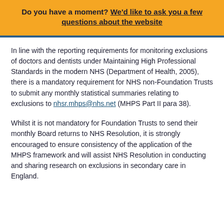Do you have a moment? We'd like to ask you a few questions about the website
In line with the reporting requirements for monitoring exclusions of doctors and dentists under Maintaining High Professional Standards in the modern NHS (Department of Health, 2005), there is a mandatory requirement for NHS non-Foundation Trusts to submit any monthly statistical summaries relating to exclusions to nhsr.mhps@nhs.net (MHPS Part II para 38).
Whilst it is not mandatory for Foundation Trusts to send their monthly Board returns to NHS Resolution, it is strongly encouraged to ensure consistency of the application of the MHPS framework and will assist NHS Resolution in conducting and sharing research on exclusions in secondary care in England.